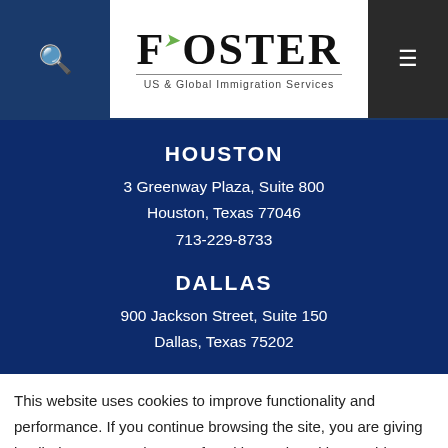[Figure (logo): Foster US & Global Immigration Services logo with search icon on left and hamburger menu on right]
HOUSTON
3 Greenway Plaza, Suite 800
Houston, Texas 77046
713-229-8733
DALLAS
900 Jackson Street, Suite 150
Dallas, Texas 75202
This website uses cookies to improve functionality and performance. If you continue browsing the site, you are giving implied consent to the use of cookies and tracking on this website. See our Read More for details.